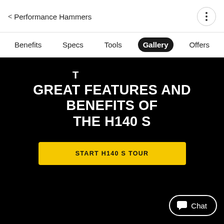< Performance Hammers
Benefits
Specs
Tools
Gallery
Offers
GREAT FEATURES AND BENEFITS OF THE H140 S
START H140 S TOUR